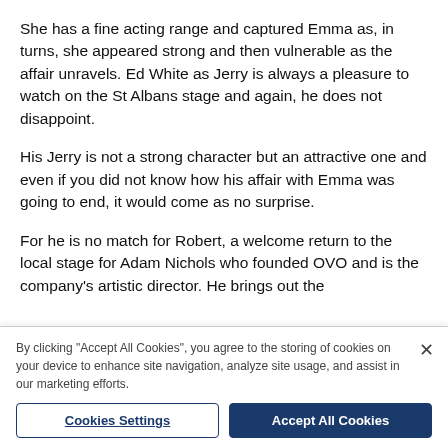She has a fine acting range and captured Emma as, in turns, she appeared strong and then vulnerable as the affair unravels. Ed White as Jerry is always a pleasure to watch on the St Albans stage and again, he does not disappoint.
His Jerry is not a strong character but an attractive one and even if you did not know how his affair with Emma was going to end, it would come as no surprise.
For he is no match for Robert, a welcome return to the local stage for Adam Nichols who founded OVO and is the company's artistic director. He brings out the
By clicking "Accept All Cookies", you agree to the storing of cookies on your device to enhance site navigation, analyze site usage, and assist in our marketing efforts.
Cookies Settings
Accept All Cookies